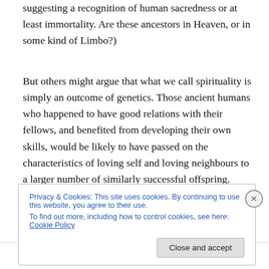suggesting a recognition of human sacredness or at least immortality. Are these ancestors in Heaven, or in some kind of Limbo?)
But others might argue that what we call spirituality is simply an outcome of genetics. Those ancient humans who happened to have good relations with their fellows, and benefited from developing their own skills, would be likely to have passed on the characteristics of loving self and loving neighbours to a larger number of similarly successful offspring.
Privacy & Cookies: This site uses cookies. By continuing to use this website, you agree to their use.
To find out more, including how to control cookies, see here: Cookie Policy
Close and accept